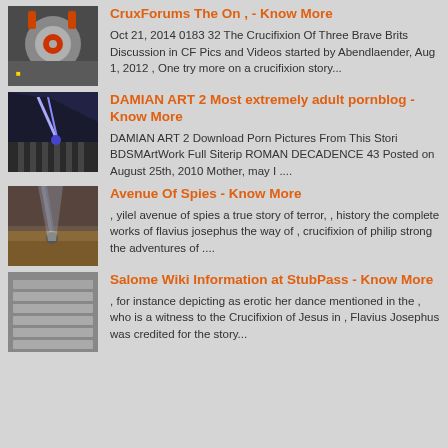[Figure (photo): Industrial machine part with red and metallic components]
CruxForums The On , - Know More
Oct 21, 2014 0183 32 The Crucifixion Of Three Brave Brits Discussion in CF Pics and Videos started by Abendlaender, Aug 1, 2012 , One try more on a crucifixion story...
[Figure (photo): Industrial laser or plasma cutting machine in operation]
DAMIAN ART 2 Most extremely adult pornblog - Know More
DAMIAN ART 2 Download Porn Pictures From This Stori BDSMArtWork Full Siterip ROMAN DECADENCE 43 Posted on August 25th, 2010 Mother, may I ....
[Figure (photo): Industrial cutting machine on metal surface with rust]
Avenue Of Spies - Know More
, yilel avenue of spies a true story of terror, , history the complete works of flavius josephus the way of , crucifixion of philip strong the adventures of ....
[Figure (photo): Gray metal slats or louvers arranged in parallel]
Salome Wiki Information at StubPass - Know More
, for instance depicting as erotic her dance mentioned in the , who is a witness to the Crucifixion of Jesus in , Flavius Josephus was credited for the story...